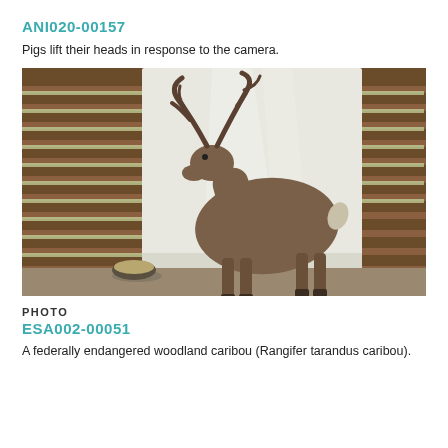ANI020-00157
Pigs lift their heads in response to the camera.
[Figure (photo): A woodland caribou (reindeer) standing in a barn/shed with wooden plank walls, in front of a white backdrop, with a food bowl on the ground to its left. Antlers are prominent.]
PHOTO
ESA002-00051
A federally endangered woodland caribou (Rangifer tarandus caribou).